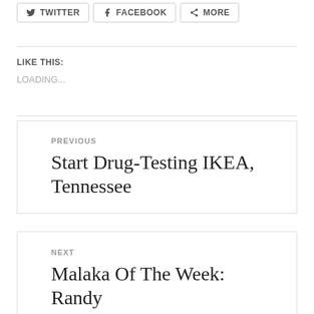[Figure (other): Social share buttons: Twitter, Facebook, More]
LIKE THIS:
LOADING...
PREVIOUS
Start Drug-Testing IKEA, Tennessee
NEXT
Malaka Of The Week: Randy